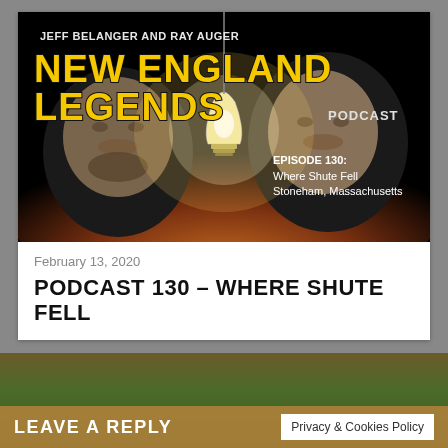[Figure (illustration): New England Legends Podcast cover art showing Episode 130: Where Shute Fell, Stoneham, Massachusetts. Two men's faces visible in dark background with a glowing light bulb in center. Text: Jeff Belanger and Ray Auger, New England Legends Podcast, Episode 130: Where Shute Fell Stoneham, Massachusetts.]
February 13, 2020
PODCAST 130 – WHERE SHUTE FELL
LEAVE A REPLY
Privacy & Cookies Policy